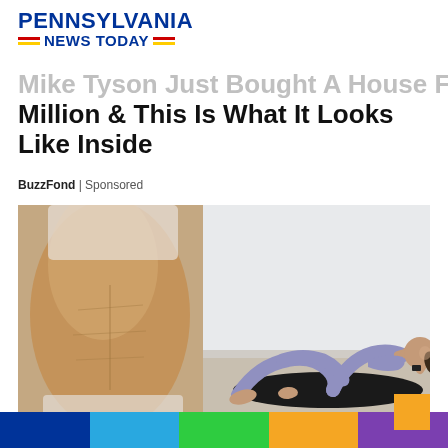PENNSYLVANIA NEWS TODAY
Mike Tyson Just Bought A House For $2.5 Million & This Is What It Looks Like Inside
BuzzFond | Sponsored
[Figure (photo): Fitness photo: close-up of toned female abdomen on left; woman in blue workout outfit doing crunches on black mat on right]
Colored bottom bar: dark blue, light blue, green, orange, purple segments